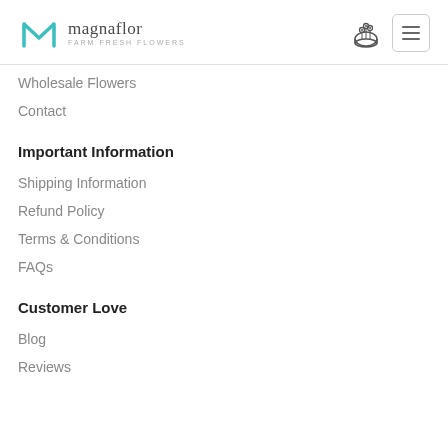magnaflor FARM FRESH FLOWERS
Wholesale Flowers
Contact
Important Information
Shipping Information
Refund Policy
Terms & Conditions
FAQs
Customer Love
Blog
Reviews